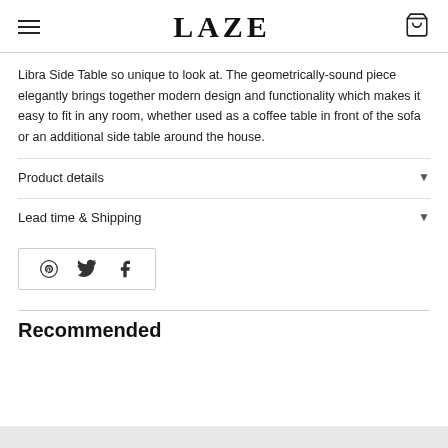LAZE
Libra Side Table so unique to look at. The geometrically-sound piece elegantly brings together modern design and functionality which makes it easy to fit in any room, whether used as a coffee table in front of the sofa or an additional side table around the house.
Product details
Lead time & Shipping
[Figure (infographic): Social share buttons: Pinterest, Twitter, Facebook icons in a bordered box]
Recommended